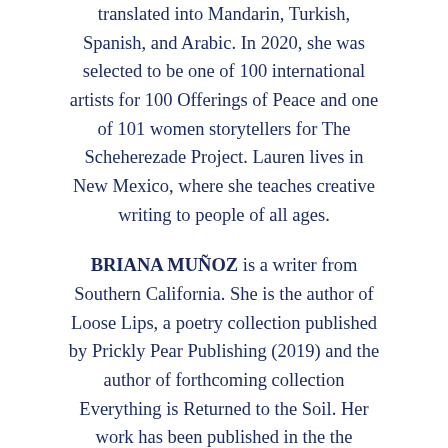translated into Mandarin, Turkish, Spanish, and Arabic. In 2020, she was selected to be one of 100 international artists for 100 Offerings of Peace and one of 101 women storytellers for The Scheherezade Project. Lauren lives in New Mexico, where she teaches creative writing to people of all ages.
BRIANA MUÑOZ is a writer from Southern California. She is the author of Loose Lips, a poetry collection published by Prickly Pear Publishing (2019) and the author of forthcoming collection Everything is Returned to the Soil. Her work has been published in the the Dryland Literary Journal, in Boundless: The anthology of the Rio Grande Valley...